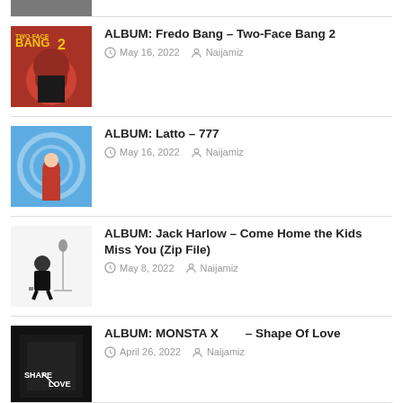[Figure (photo): Partial album art visible at top of page]
ALBUM: Fredo Bang – Two-Face Bang 2
May 16, 2022  Naijamiz
[Figure (photo): Album art for Latto – 777, blue background with figure]
ALBUM: Latto – 777
May 16, 2022  Naijamiz
[Figure (photo): Album art for Jack Harlow – Come Home the Kids Miss You, person sitting]
ALBUM: Jack Harlow – Come Home the Kids Miss You (Zip File)
May 8, 2022  Naijamiz
[Figure (photo): Album art for MONSTA X – Shape Of Love, black background with white text]
ALBUM: MONSTA X – Shape Of Love
April 26, 2022  Naijamiz